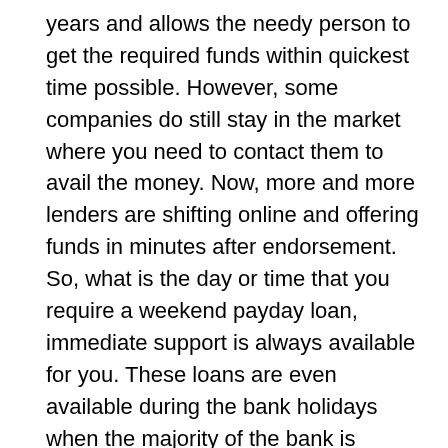years and allows the needy person to get the required funds within quickest time possible. However, some companies do still stay in the market where you need to contact them to avail the money. Now, more and more lenders are shifting online and offering funds in minutes after endorsement. So, what is the day or time that you require a weekend payday loan, immediate support is always available for you. These loans are even available during the bank holidays when the majority of the bank is closed. Therefore, if you have considered if a loan is the precise choice for you, come to apply online and look ahead with easy